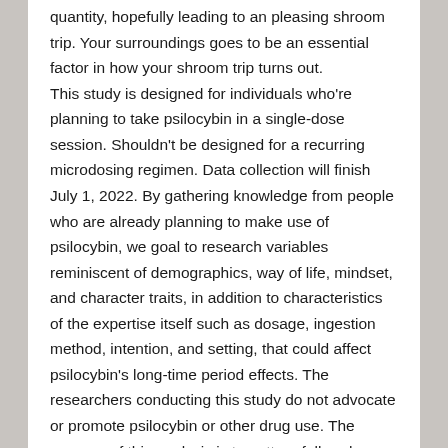quantity, hopefully leading to an pleasing shroom trip. Your surroundings goes to be an essential factor in how your shroom trip turns out.
This study is designed for individuals who're planning to take psilocybin in a single-dose session. Shouldn't be designed for a recurring microdosing regimen. Data collection will finish July 1, 2022. By gathering knowledge from people who are already planning to make use of psilocybin, we goal to research variables reminiscent of demographics, way of life, mindset, and character traits, in addition to characteristics of the expertise itself such as dosage, ingestion method, intention, and setting, that could affect psilocybin's long-time period effects. The researchers conducting this study do not advocate or promote psilocybin or other drug use. The purpose of this analysis is to pattern folks whose intent to take psilocybin is